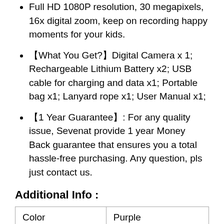Full HD 1080P resolution, 30 megapixels, 16x digital zoom, keep on recording happy moments for your kids.
【What You Get?】Digital Camera x 1; Rechargeable Lithium Battery x2; USB cable for charging and data x1; Portable bag x1; Lanyard rope x1; User Manual x1;
【1 Year Guarantee】: For any quality issue, Sevenat provide 1 year Money Back guarantee that ensures you a total hassle-free purchasing. Any question, pls just contact us.
Additional Info :
| Color | Purple |
| --- | --- |